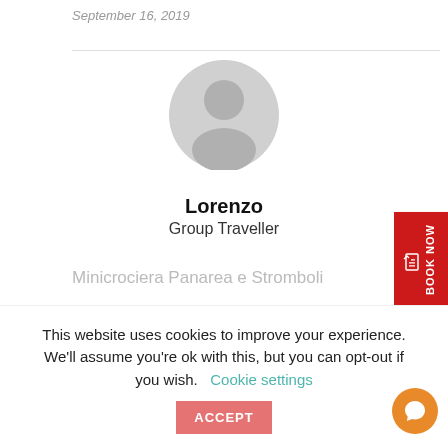September 16, 2019
[Figure (illustration): Generic user avatar icon — grey circle with person silhouette]
Lorenzo
Group Traveller
Minicrociera Panarea e Stromboli
Tour appassionante e suggestivo per la bellezza di Panarea e Stromboli. Molto ben organizzato,
This website uses cookies to improve your experience. We'll assume you're ok with this, but you can opt-out if you wish.  Cookie settings  ACCEPT